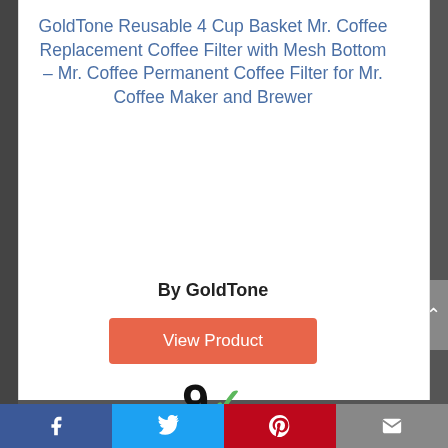GoldTone Reusable 4 Cup Basket Mr. Coffee Replacement Coffee Filter with Mesh Bottom – Mr. Coffee Permanent Coffee Filter for Mr. Coffee Maker and Brewer
By GoldTone
[Figure (other): Orange 'View Product' button]
[Figure (other): Score display showing '9' with a green checkmark, and a blue 'Score' badge below]
[Figure (other): Partial blue circle arc at bottom of page, partially cut off]
Facebook | Twitter | Pinterest | Email